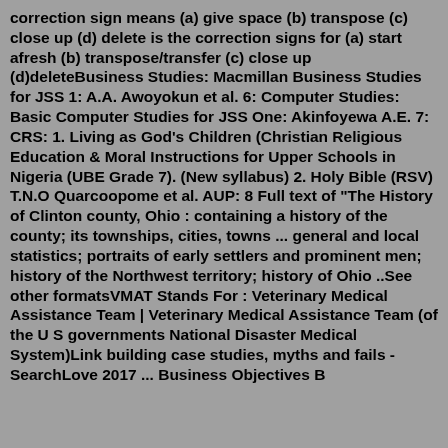correction sign means (a) give space (b) transpose (c) close up (d) delete is the correction signs for (a) start afresh (b) transpose/transfer (c) close up (d)deleteBusiness Studies: Macmillan Business Studies for JSS 1: A.A. Awoyokun et al. 6: Computer Studies: Basic Computer Studies for JSS One: Akinfoyewa A.E. 7: CRS: 1. Living as God's Children (Christian Religious Education & Moral Instructions for Upper Schools in Nigeria (UBE Grade 7). (New syllabus) 2. Holy Bible (RSV) T.N.O Quarcoopome et al. AUP: 8 Full text of "The History of Clinton county, Ohio : containing a history of the county; its townships, cities, towns ... general and local statistics; portraits of early settlers and prominent men; history of the Northwest territory; history of Ohio ..See other formatsVMAT Stands For : Veterinary Medical Assistance Team | Veterinary Medical Assistance Team (of the U S governments National Disaster Medical System)Link building case studies, myths and fails - SearchLove 2017 ... Business Objectives Business Strategies Business objectives...